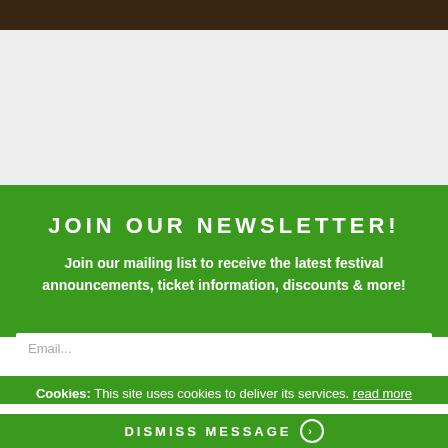[Figure (photo): Dark-toned photo strip at the top of the page, partially visible]
JOIN OUR NEWSLETTER!
Join our mailing list to receive the latest festival announcements, ticket information, discounts & more!
Cookies: This site uses cookies to deliver its services. read more
DISMISS MESSAGE >